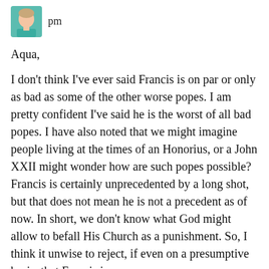[Figure (photo): Small avatar/profile photo of a person in a teal/green shirt, cropped to head and shoulders]
pm
Aqua,
I don’t think I’ve ever said Francis is on par or only as bad as some of the other worse popes. I am pretty confident I’ve said he is the worst of all bad popes. I have also noted that we might imagine people living at the times of an Honorius, or a John XXII might wonder how are such popes possible? Francis is certainly unprecedented by a long shot, but that does not mean he is not a precedent as of now. In short, we don’t know what God might allow to befall His Church as a punishment. So, I think it unwise to reject, if even on a presumptive basis, that Francis is